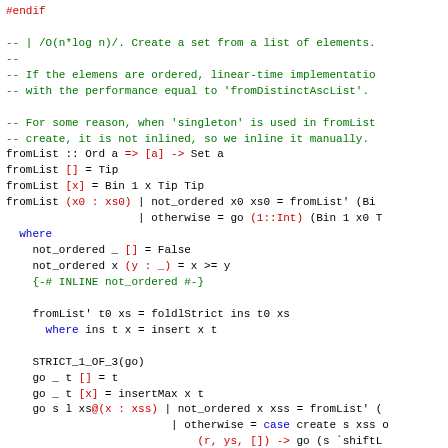#endif

-- | /O(n*log n)/. Create a set from a list of elements.
--
-- If the elemens are ordered, linear-time implementation
-- with the performance equal to 'fromDistinctAscList'.

-- For some reason, when 'singleton' is used in fromList
-- create, it is not inlined, so we inline it manually.
fromList :: Ord a => [a] -> Set a
fromList [] = Tip
fromList [x] = Bin 1 x Tip Tip
fromList (x0 : xs0) | not_ordered x0 xs0 = fromList' (Bi
                    | otherwise = go (1::Int) (Bin 1 x0 T
  where
    not_ordered _ [] = False
    not_ordered x (y : _) = x >= y
    {-# INLINE not_ordered #-}

    fromList' t0 xs = foldlStrict ins t0 xs
      where ins t x = insert x t

    STRICT_1_OF_3(go)
    go _ t [] = t
    go _ t [x] = insertMax x t
    go s l xs@(x : xss) | not_ordered x xss = fromList' (
                         | otherwise = case create s xss o
                             (r, ys, []) -> go (s `shiftL
                             (r, _,  ys) -> fromList' (lin

      The create is returning a triple (tree, xs, ys)